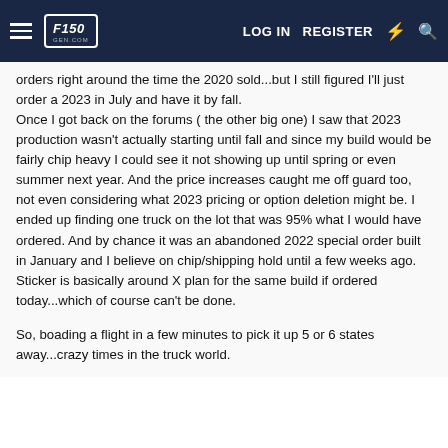F150gen.com — LOG IN  REGISTER
orders right around the time the 2020 sold...but I still figured I'll just order a 2023 in July and have it by fall.
Once I got back on the forums ( the other big one) I saw that 2023 production wasn't actually starting until fall and since my build would be fairly chip heavy I could see it not showing up until spring or even summer next year. And the price increases caught me off guard too, not even considering what 2023 pricing or option deletion might be. I ended up finding one truck on the lot that was 95% what I would have ordered. And by chance it was an abandoned 2022 special order built in January and I believe on chip/shipping hold until a few weeks ago. Sticker is basically around X plan for the same build if ordered today...which of course can't be done.

So, boading a flight in a few minutes to pick it up 5 or 6 states away...crazy times in the truck world.